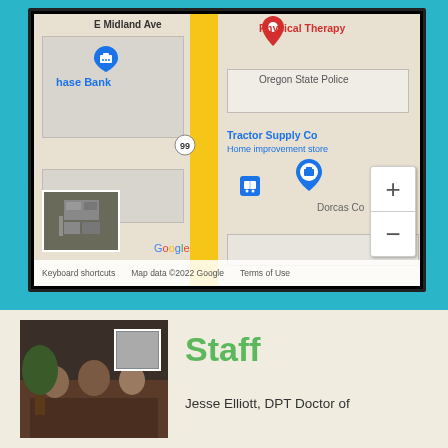[Figure (map): Google Maps screenshot showing area around E Midland Ave with Chase Bank, Tractor Supply Co, Oregon State Police, Dorcas Community, Physical Therapy location marked with red pin, route 99 badge, zoom controls, and Google logo with attribution.]
[Figure (photo): Photo of staff members (family group) sitting together indoors]
Staff
Jesse Elliott, DPT Doctor of